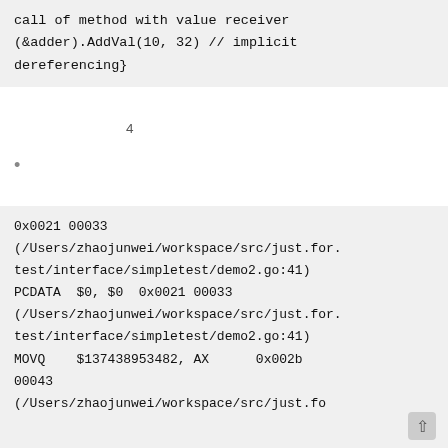call of method with value receiver
(&adder).AddVal(10, 32) // implicit
dereferencing}〓〓〓〓
〓〓〓〓〓〓〓〓4〓〓〓〓〓〓〓〓〓〓〓
〓〓〓〓〓〓〓〓
0x0021 00033
(/Users/zhaojunwei/workspace/src/just.for.
test/interface/simpletest/demo2.go:41)
PCDATA  $0, $0  0x0021 00033
(/Users/zhaojunwei/workspace/src/just.for.
test/interface/simpletest/demo2.go:41)
MOVQ    $137438953482, AX      0x002b
00043
(/Users/zhaojunwei/workspace/src/just.fo